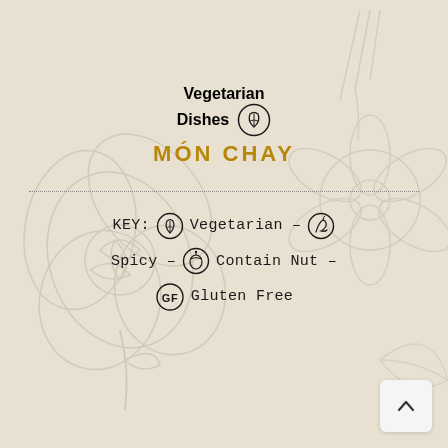Vegetarian Dishes MÓN CHAY
KEY: Vegetarian – Spicy – Contain Nut – Gluten Free